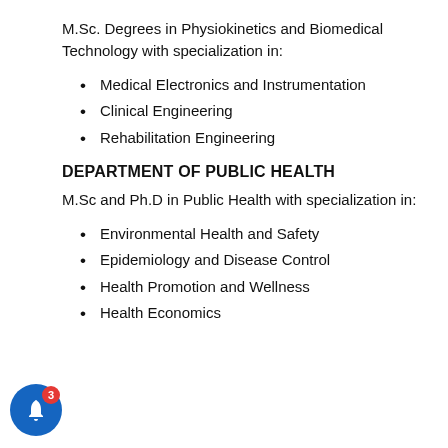M.Sc. Degrees in Physiokinetics and Biomedical Technology with specialization in:
Medical Electronics and Instrumentation
Clinical Engineering
Rehabilitation Engineering
DEPARTMENT OF PUBLIC HEALTH
M.Sc and Ph.D in Public Health with specialization in:
Environmental Health and Safety
Epidemiology and Disease Control
Health Promotion and Wellness
Health Economics